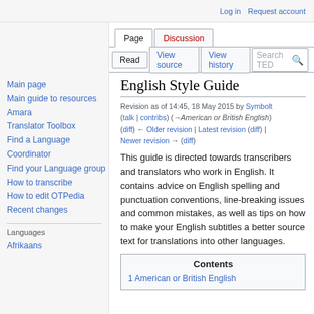Log in  Request account
Page  Discussion  Read  View source  View history  Search TED
English Style Guide
Revision as of 14:45, 18 May 2015 by Symbolt (talk | contribs) (→American or British English) (diff) ← Older revision | Latest revision (diff) | Newer revision → (diff)
Main page
Main guide to resources
Amara
Translator Toolbox
Find a Language Coordinator
Find your Language group
How to transcribe
How to edit OTPedia
Recent changes
Languages
Afrikaans
This guide is directed towards transcribers and translators who work in English. It contains advice on English spelling and punctuation conventions, line-breaking issues and common mistakes, as well as tips on how to make your English subtitles a better source text for translations into other languages.
Contents
1 American or British English